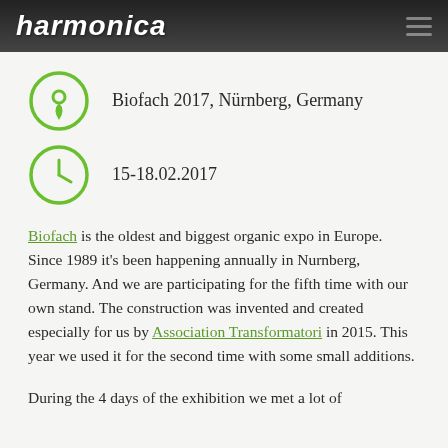harmonica
Biofach 2017, Nürnberg, Germany
15-18.02.2017
Biofach is the oldest and biggest organic expo in Europe. Since 1989 it's been happening annually in Nurnberg, Germany. And we are participating for the fifth time with our own stand. The construction was invented and created especially for us by Association Transformatori in 2015. This year we used it for the second time with some small additions.
During the 4 days of the exhibition we met a lot of